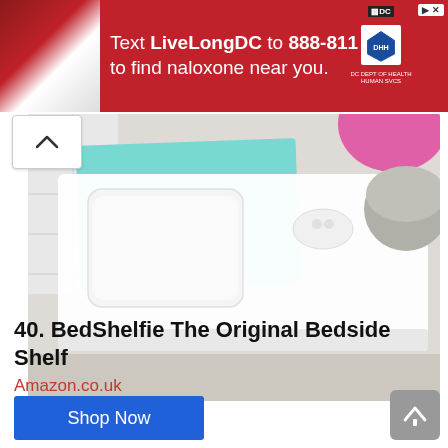[Figure (infographic): Red advertisement banner: Text LiveLongDC to 888-811 to find naloxone near you. Shows DC logo and health department badge. Left side has photo of medicine/syringe.]
[Figure (photo): Product photo of BedShelfie bedside shelf mounted on bed frame, with white phone, teal mat, AirPods case, pink ball, and Google Home Mini on white shelf against beige background.]
40. BedShelfie The Original Bedside Shelf
Amazon.co.uk
Shop Now